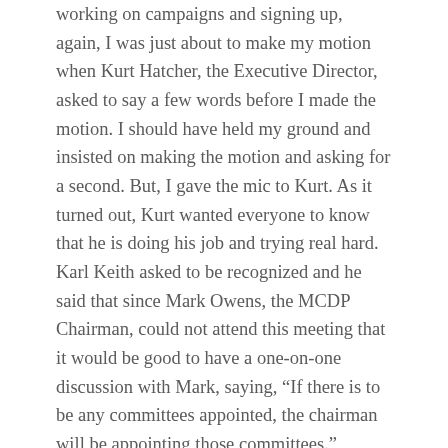working on campaigns and signing up, again, I was just about to make my motion when Kurt Hatcher, the Executive Director, asked to say a few words before I made the motion. I should have held my ground and insisted on making the motion and asking for a second. But, I gave the mic to Kurt. As it turned out, Kurt wanted everyone to know that he is doing his job and trying real hard. Karl Keith asked to be recognized and he said that since Mark Owens, the MCDP Chairman, could not attend this meeting that it would be good to have a one-on-one discussion with Mark, saying, “If there is to be any committees appointed, the chairman will be appointing those committees.” (Karl’s concern that Mark had not been included in my email was not founded. Kurt confirmed that when my email bounced that he